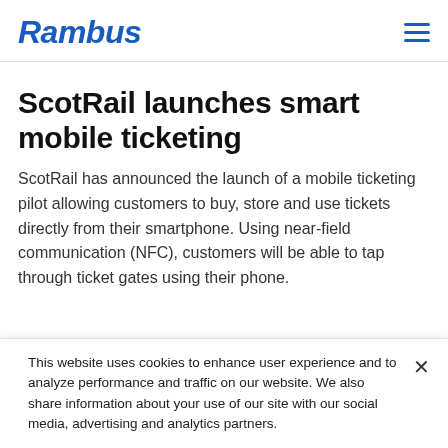Rambus
ScotRail launches smart mobile ticketing
ScotRail has announced the launch of a mobile ticketing pilot allowing customers to buy, store and use tickets directly from their smartphone. Using near-field communication (NFC), customers will be able to tap through ticket gates using their phone.
This website uses cookies to enhance user experience and to analyze performance and traffic on our website. We also share information about your use of our site with our social media, advertising and analytics partners.